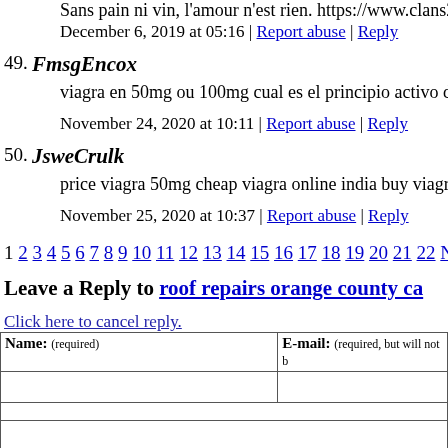Sans pain ni vin, l'amour n'est rien. https://www.clans26.fr
December 6, 2019 at 05:16 | Report abuse | Reply
49. FmsgEncox
viagra en 50mg ou 100mg cual es el principio activo de la viag…
November 24, 2020 at 10:11 | Report abuse | Reply
50. JsweCrulk
price viagra 50mg cheap viagra online india buy viagra over th…
November 25, 2020 at 10:37 | Report abuse | Reply
1 2 3 4 5 6 7 8 9 10 11 12 13 14 15 16 17 18 19 20 21 22 Next »
Leave a Reply to roof repairs orange county ca
Click here to cancel reply.
| Name: (required) | E-mail: (required, but will not be published) |
| --- | --- |
|  |  |